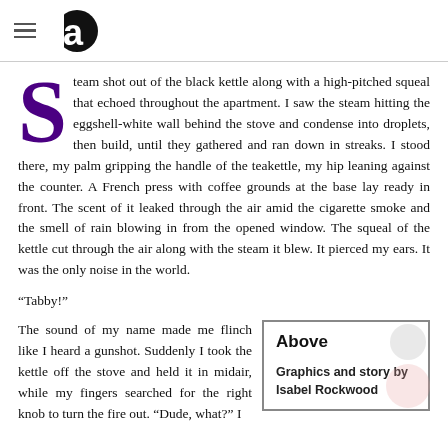[Hamburger menu icon] [App logo]
Steam shot out of the black kettle along with a high-pitched squeal that echoed throughout the apartment. I saw the steam hitting the eggshell-white wall behind the stove and condense into droplets, then build, until they gathered and ran down in streaks. I stood there, my palm gripping the handle of the teakettle, my hip leaning against the counter. A French press with coffee grounds at the base lay ready in front. The scent of it leaked through the air amid the cigarette smoke and the smell of rain blowing in from the opened window. The squeal of the kettle cut through the air along with the steam it blew. It pierced my ears. It was the only noise in the world.
“Tabby!”
The sound of my name made me flinch like I heard a gunshot. Suddenly I took the kettle off the stove and held it in midair, while my fingers searched for the right knob to turn the fire out. “Dude, what?” I
Above

Graphics and story by Isabel Rockwood